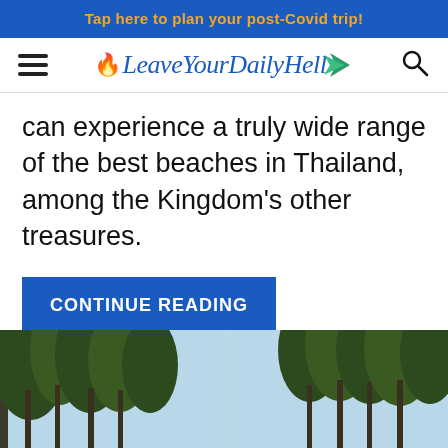Tap here to plan your post-Covid trip!
[Figure (logo): LeaveYourDailyHell website logo with hamburger menu and search icon]
can experience a truly wide range of the best beaches in Thailand, among the Kingdom's other treasures.
CONTINUE READING
[Figure (photo): Tall tropical trees (casuarina/pine-like) against a light blue sky, beach setting in Thailand]